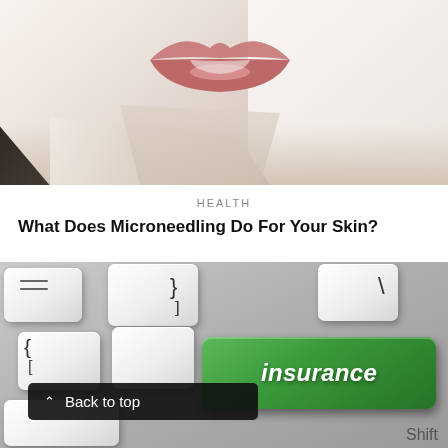[Figure (photo): Close-up photo of a woman's lower face (lips and chin area) with a white collar visible, against a white background]
HEALTH
What Does Microneedling Do For Your Skin?
[Figure (photo): Photo of a computer keyboard with a large green key labeled 'insurance' in white italic text, with other white keys showing bracket characters. A 'Back to top' button overlay is visible in the lower left, and 'Shift' text is visible in the lower right.]